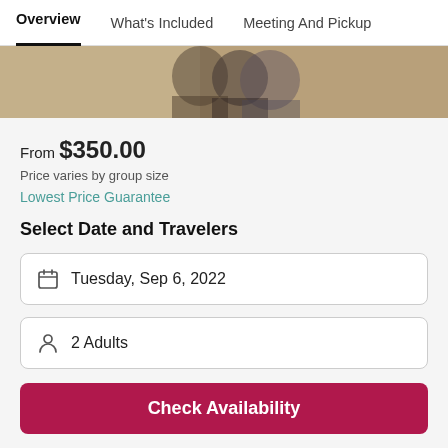Overview | What's Included | Meeting And Pickup
[Figure (photo): Partial photo of people standing together, cropped to show upper body and background]
From $350.00
Price varies by group size
Lowest Price Guarantee
Select Date and Travelers
Tuesday, Sep 6, 2022
2 Adults
Check Availability
Free cancellation